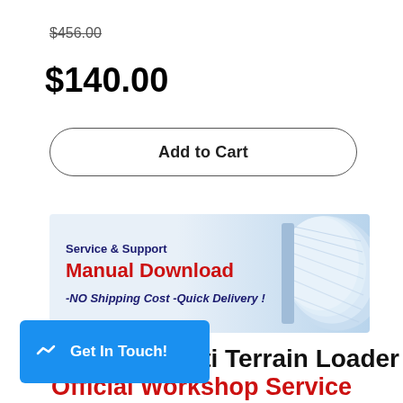$456.00
$140.00
Add to Cart
[Figure (infographic): Service & Support Manual Download banner with books image, text: Service & Support, Manual Download, -NO Shipping Cost -Quick Delivery!]
Get In Touch!
ti Terrain Loader Official Workshop Service